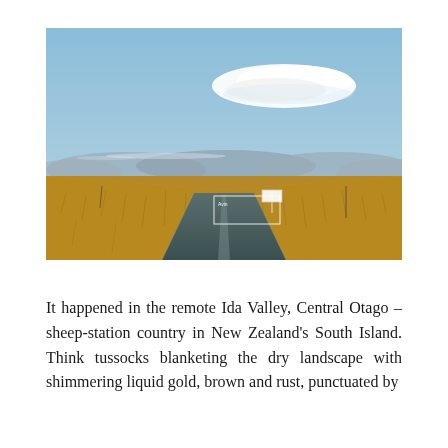[Figure (photo): A wide landscape painting or photograph of a remote flat road stretching straight to the horizon in Ida Valley, Central Otago, New Zealand. Golden-brown tussock grasses flank the road on both sides. Mountains are visible in the distance under a pale blue sky. A large, elongated white lenticular cloud floats prominently in the upper portion of the sky. A road sign is visible in the middle distance. A small white annotation rectangle is drawn around the sign area with label text.]
It happened in the remote Ida Valley, Central Otago – sheep-station country in New Zealand's South Island. Think tussocks blanketing the dry landscape with shimmering liquid gold, brown and rust, punctuated by…